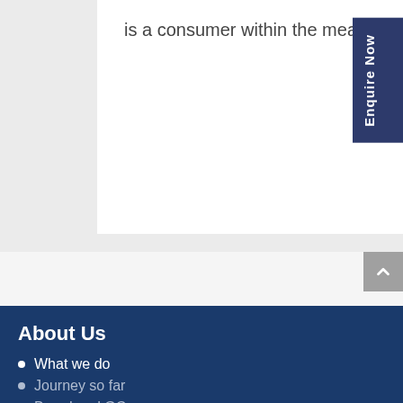is a consumer within the meaning of Section 2(d) of the Consumer Protection Act, 1986.
Written by: Ankur Saha, Head- Legal, VOICE
About Us
What we do
Journey so far
Board and GC
Share This